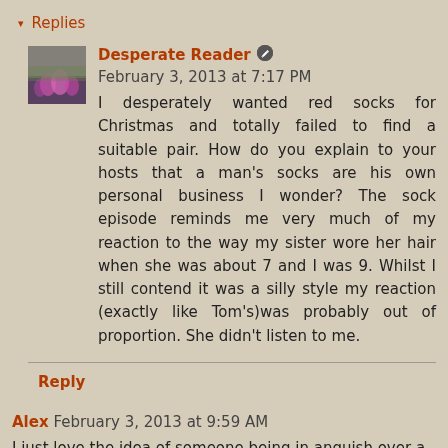▾ Replies
Desperate Reader  February 3, 2013 at 7:17 PM
I desperately wanted red socks for Christmas and totally failed to find a suitable pair. How do you explain to your hosts that a man's socks are his own personal business I wonder? The sock episode reminds me very much of my reaction to the way my sister wore her hair when she was about 7 and I was 9. Whilst I still contend it was a silly style my reaction (exactly like Tom's)was probably out of proportion. She didn't listen to me.
Reply
Alex  February 3, 2013 at 9:59 AM
I just love the idea of someone being in anguish over a pair